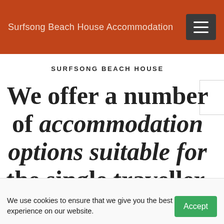Surfsong Beach House Accommodation
SURFSONG BEACH HOUSE
We offer a number of accommodation options suitable for the single traveller, couples or the whole
We use cookies to ensure that we give you the best experience on our website.